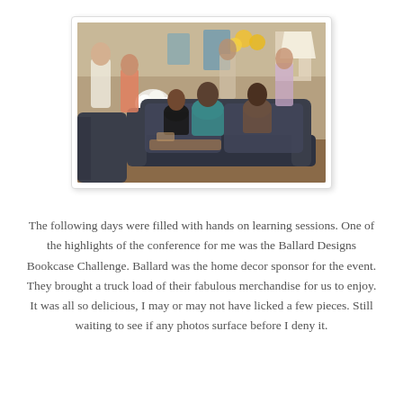[Figure (photo): Indoor event/conference scene with people sitting and mingling on dark sofas, white flower arrangements on a table, yellow balloons in the background, warm ambient lighting.]
The following days were filled with hands on learning sessions.  One of the highlights of the conference for me was the Ballard Designs Bookcase Challenge.  Ballard was the home decor sponsor for the event.  They brought a truck load of their fabulous merchandise for us to enjoy.  It was all so delicious, I may or may not have licked a few pieces.  Still waiting to see if any photos surface before I deny it.